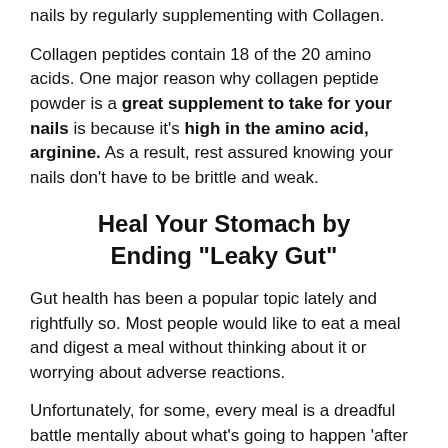nails by regularly supplementing with Collagen.
Collagen peptides contain 18 of the 20 amino acids. One major reason why collagen peptide powder is a great supplement to take for your nails is because it's high in the amino acid, arginine. As a result, rest assured knowing your nails don't have to be brittle and weak.
Heal Your Stomach by Ending "Leaky Gut"
Gut health has been a popular topic lately and rightfully so. Most people would like to eat a meal and digest a meal without thinking about it or worrying about adverse reactions.
Unfortunately, for some, every meal is a dreadful battle mentally about what's going to happen 'after the meal'. Leaky